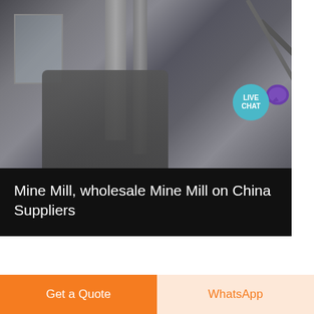[Figure (photo): Industrial mine mill machinery with pipes and equipment in a factory setting. A 'LIVE CHAT' badge appears in the top-right corner.]
Mine Mill, wholesale Mine Mill on China Suppliers
Mine Mill directory - wholesale Mine Mill from china Mine Mill Manufacturers on China Suppliers.
[Figure (photo): Two partially visible product images at the bottom: left shows metal sheets/materials, right shows blue structural steel framework.]
Get More
Get a Quote
WhatsApp